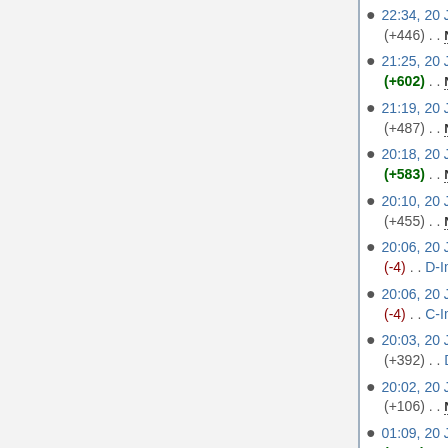22:34, 20 June 2006 (diff | hist) . . (+446) . . N I-Index
21:25, 20 June 2006 (diff | hist) . . (+602) . . N H-Index
21:19, 20 June 2006 (diff | hist) . . (+487) . . N G-Index
20:18, 20 June 2006 (diff | hist) . . (+583) . . N F-Index
20:10, 20 June 2006 (diff | hist) . . (+455) . . N E-Index
20:06, 20 June 2006 (diff | hist) . . (-4) . . D-Index
20:06, 20 June 2006 (diff | hist) . . (-4) . . C-Index
20:03, 20 June 2006 (diff | hist) . . (+392) . . D-Index
20:02, 20 June 2006 (diff | hist) . . (+106) . . N D-Index
01:09, 20 June 2006 (diff | hist) . . (+720) . . N C-Index